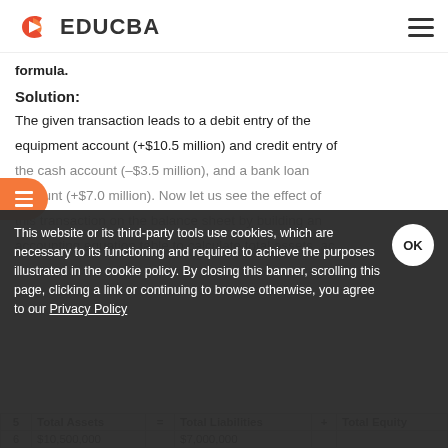EDUCBA
formula.
Solution:
The given transaction leads to a debit entry of the equipment account (+$10.5 million) and credit entry of the cash account (-$3.5 million), and a bank loan account (+$7.0 million). Now let us see the effect of this transaction on the balance sheet by building an accounting equation table to calculate the total assets, ac…
|  | Total Assets | = | Total Liabilities | + | Total Equity |
| --- | --- | --- | --- | --- | --- |
| 6 | $10,500,000 |  | $7,000,000 |  |  |
This website or its third-party tools use cookies, which are necessary to its functioning and required to achieve the purposes illustrated in the cookie policy. By closing this banner, scrolling this page, clicking a link or continuing to browse otherwise, you agree to our Privacy Policy